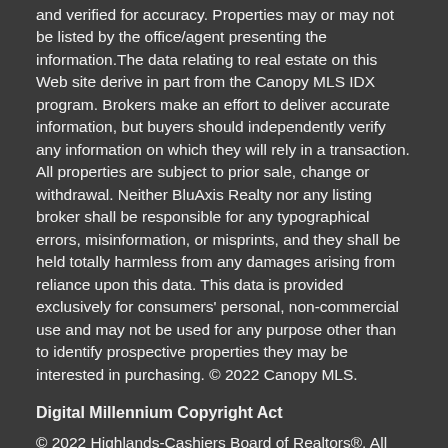and verified for accuracy. Properties may or may not be listed by the office/agent presenting the information.The data relating to real estate on this Web site derive in part from the Canopy MLS IDX program. Brokers make an effort to deliver accurate information, but buyers should independently verify any information on which they will rely in a transaction. All properties are subject to prior sale, change or withdrawal. Neither BluAxis Realty nor any listing broker shall be responsible for any typographical errors, misinformation, or misprints, and they shall be held totally harmless from any damages arising from reliance upon this data. This data is provided exclusively for consumers' personal, non-commercial use and may not be used for any purpose other than to identify prospective properties they may be interested in purchasing. © 2022 Canopy MLS.
Digital Millennium Copyright Act
© 2022 Highlands-Cashiers Board of Realtors®. All Rights Reserved. IDX information is provided exclusively for consumers' personal, non-commercial use and may not be used for any purpose other than to identify prospective properties consumers may be interested in purchasing. Information is deemed reliable